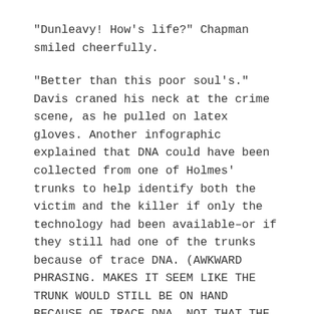"Dunleavy! How's life?" Chapman smiled cheerfully.
"Better than this poor soul's." Davis craned his neck at the crime scene, as he pulled on latex gloves. Another infographic explained that DNA could have been collected from one of Holmes' trunks to help identify both the victim and the killer if only the technology had been available–or if they still had one of the trunks because of trace DNA. (AWKWARD PHRASING. MAKES IT SEEM LIKE THE TRUNK WOULD STILL BE ON HAND BECAUSE OF TRACE DNA, NOT THAT THE TRACE DNA WOULD BE USEFUL WITH THE NEW TECH OR IF THEY STILL HAD ONE OF THE TRUNKS…)